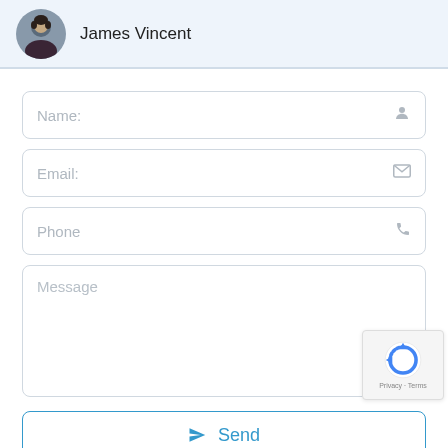[Figure (photo): Circular avatar photo of a young man in dark shirt]
James Vincent
Name:
Email:
Phone
Message
Send